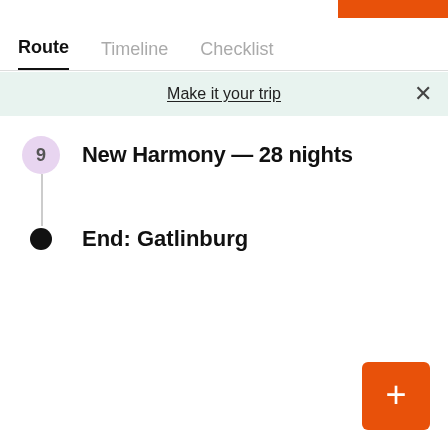Route   Timeline   Checklist
Make it your trip
9  New Harmony — 28 nights
End: Gatlinburg